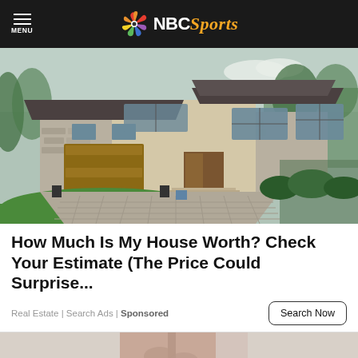MENU | NBC Sports
[Figure (photo): Large luxury house with stone facade, dark wood garage door, circular paved driveway, green lawn, and trees in the background.]
How Much Is My House Worth? Check Your Estimate (The Price Could Surprise...
Real Estate | Search Ads | Sponsored
[Figure (photo): Close-up of a person's legs, partial body shot on light gray background.]